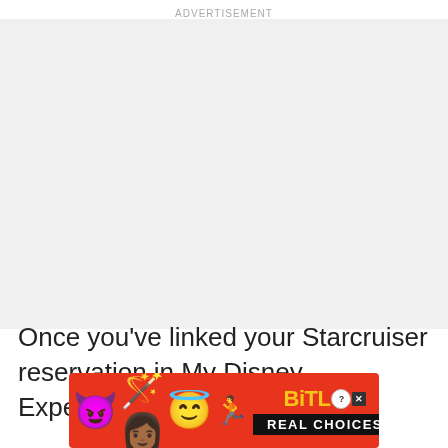ADVERTISEMENT
[Figure (other): Gray advertisement placeholder area]
Once you've linked your Starcruiser reservation in My Disney Experience, your personalized
[Figure (infographic): BitLife mobile game advertisement banner with emoji characters (devil, woman with fork, angel face) and BitLife REAL CHOICES logo on red background]